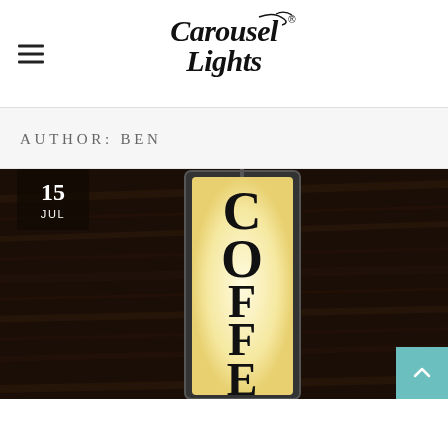Carousel Lights
AUTHOR: BEN
[Figure (photo): Illuminated vertical coffee shop sign reading COFFEE on a dark wooden wall background, with a date badge overlay showing '15 JUL' in the top-left corner.]